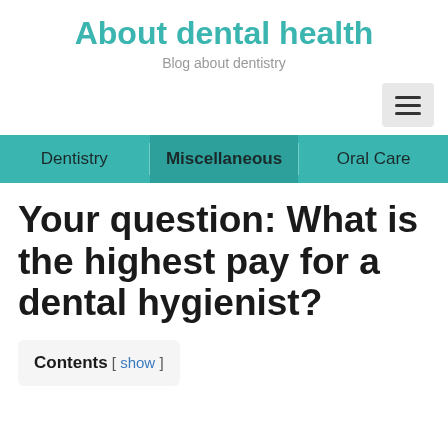About dental health
Blog about dentistry
Dentistry  Miscellaneous  Oral Care
Your question: What is the highest pay for a dental hygienist?
Contents [ show ]